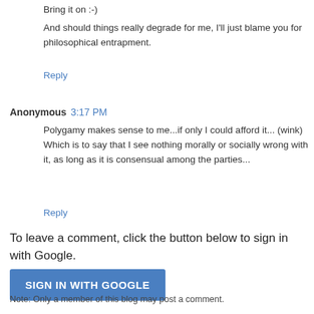Bring it on :-)
And should things really degrade for me, I'll just blame you for philosophical entrapment.
Reply
Anonymous 3:17 PM
Polygamy makes sense to me...if only I could afford it... (wink) Which is to say that I see nothing morally or socially wrong with it, as long as it is consensual among the parties...
Reply
To leave a comment, click the button below to sign in with Google.
SIGN IN WITH GOOGLE
Note: Only a member of this blog may post a comment.